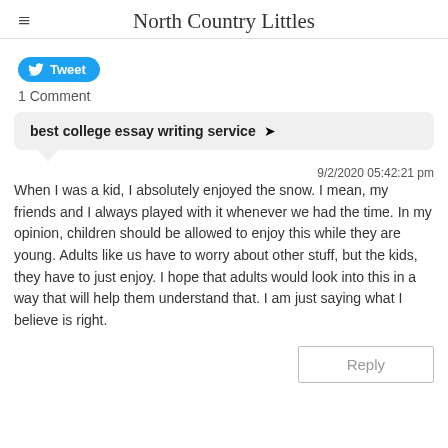North Country Littles
Tweet
1 Comment
best college essay writing service →
9/2/2020 05:42:21 pm
When I was a kid, I absolutely enjoyed the snow. I mean, my friends and I always played with it whenever we had the time. In my opinion, children should be allowed to enjoy this while they are young. Adults like us have to worry about other stuff, but the kids, they have to just enjoy. I hope that adults would look into this in a way that will help them understand that. I am just saying what I believe is right.
Reply